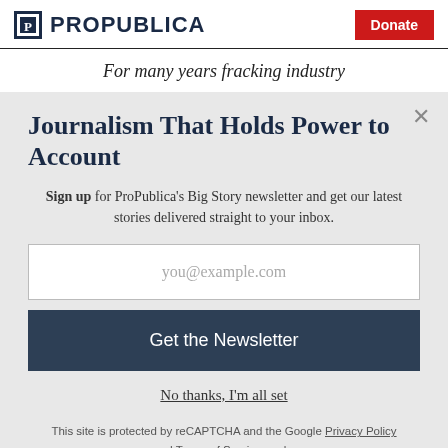ProPublica | Donate
For many years fracking industry
Journalism That Holds Power to Account
Sign up for ProPublica's Big Story newsletter and get our latest stories delivered straight to your inbox.
you@example.com
Get the Newsletter
No thanks, I'm all set
This site is protected by reCAPTCHA and the Google Privacy Policy and Terms of Service apply.